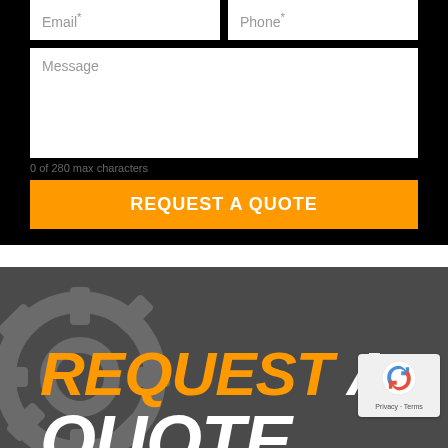Email*
Phone*
Message
0 of 280 max characters
REQUEST A QUOTE
REQUEST A QUOTE
[Figure (logo): reCAPTCHA badge with Privacy and Terms links]